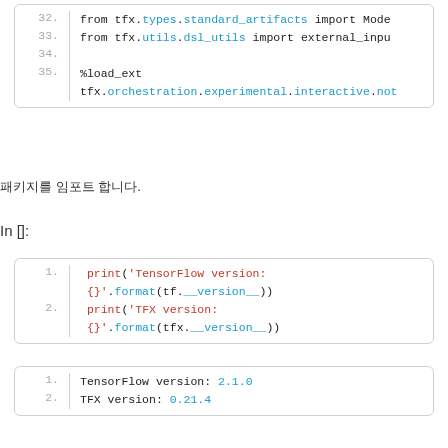[Figure (screenshot): Code block showing lines 32-35 with Python import statements and %load_ext magic command]
패키지를 임포트 합니다.
In []:
[Figure (screenshot): Code block with 2 lines: print('TensorFlow version: {}'.format(tf.__version__)) and print('TFX version: {}'.format(tfx.__version__))]
[Figure (screenshot): Output block showing: TensorFlow version: 2.1.0 and TFX version: 0.21.4]
버전에서는 일부 오류 or 발생
In []:
[Figure (screenshot): Code block line 1: # This is the root directory for your TFX pipeline installation.]